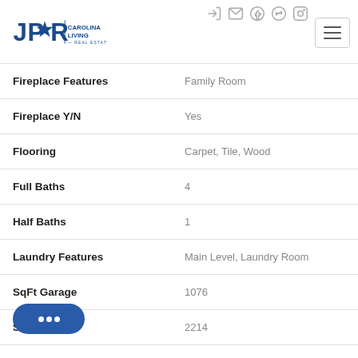[Figure (logo): JPAR Carolina Living Real Estate logo with star icon]
| Property Field | Value |
| --- | --- |
| Fireplace Features | Family Room |
| Fireplace Y/N | Yes |
| Flooring | Carpet, Tile, Wood |
| Full Baths | 4 |
| Half Baths | 1 |
| Laundry Features | Main Level, Laundry Room |
| SqFt Garage | 1076 |
| SqFt Main | 2214 |